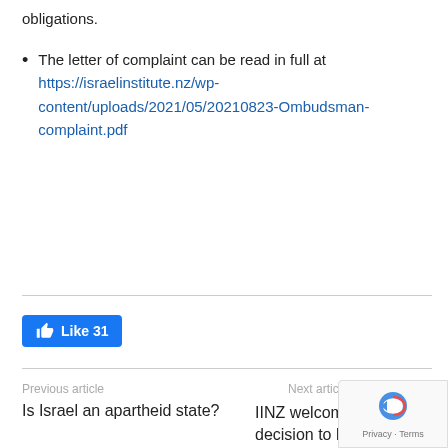obligations.
The letter of complaint can be read in full at https://israelinstitute.nz/wp-content/uploads/2021/05/20210823-Ombudsman-complaint.pdf
[Figure (other): Facebook Like button showing 31 likes]
Previous article
Is Israel an apartheid state?
Next article
IINZ welcomes gove decision to boycott U
[Figure (other): reCAPTCHA badge with Privacy and Terms links]